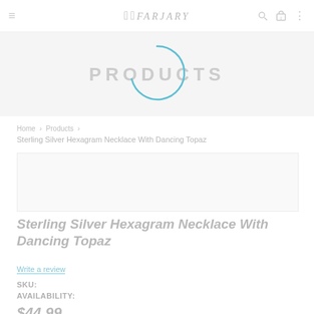≡ FARJARY 🔍 🛒 ⋮
PRODUCTS
[Figure (other): Teal/cyan circular loading spinner arc centered over the PRODUCTS banner area]
Home > Products >
Sterling Silver Hexagram Necklace With Dancing Topaz
Sterling Silver Hexagram Necklace With Dancing Topaz
Write a review
SKU:
AVAILABILITY:
$44.99